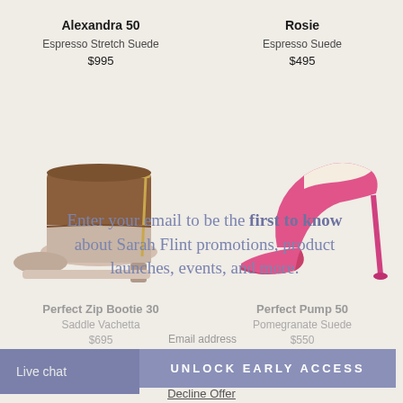Alexandra 50
Espresso Stretch Suede
$995
Rosie
Espresso Suede
$495
[Figure (photo): Brown leather ankle bootie with gold zipper detail and low block heel, shown from side angle]
[Figure (photo): Hot pink pointed-toe stiletto pump, shown from side angle]
Enter your email to be the first to know about Sarah Flint promotions, product launches, events, and more.
Perfect Zip Bootie 30
Saddle Vachetta
$695
Perfect Pump 50
Pomegranate Suede
$550
Email address
UNLOCK EARLY ACCESS
Live chat
Decline Offer